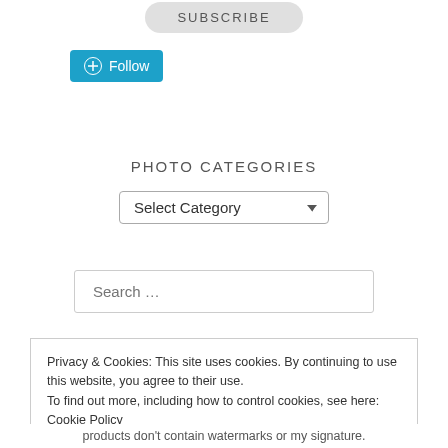[Figure (screenshot): A rounded pill-shaped Subscribe button in gray at the top of the page]
[Figure (screenshot): WordPress Follow button in teal/blue with WP logo icon]
PHOTO CATEGORIES
[Figure (screenshot): A dropdown select box labeled 'Select Category' with a down arrow]
[Figure (screenshot): A search input box with placeholder text 'Search ...']
Privacy & Cookies: This site uses cookies. By continuing to use this website, you agree to their use.
To find out more, including how to control cookies, see here: Cookie Policy
[Figure (screenshot): Close and accept button]
products don't contain watermarks or my signature.